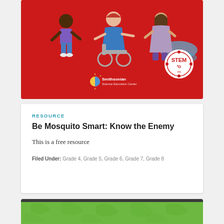[Figure (illustration): Red background illustration showing diverse children including a person in a wheelchair, with Smithsonian Science Education Center logo and STEM2D logo]
RESOURCE
Be Mosquito Smart: Know the Enemy
This is a free resource
Filed Under: Grade 4, Grade 5, Grade 6, Grade 7, Grade 8
[Figure (illustration): Green background card with dark strip at top, partially visible at bottom of page]